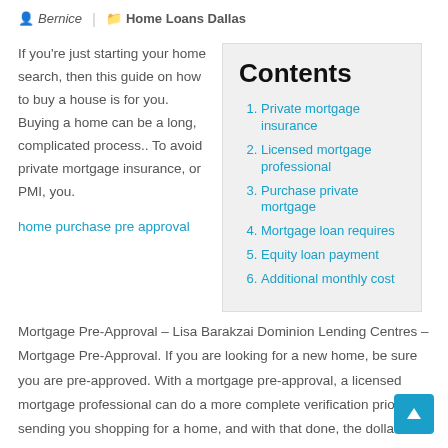Bernice | Home Loans Dallas
If you're just starting your home search, then this guide on how to buy a house is for you. Buying a home can be a long, complicated process.. To avoid private mortgage insurance, or PMI, you.
| 1. Private mortgage insurance |
| 2. Licensed mortgage professional |
| 3. Purchase private mortgage |
| 4. Mortgage loan requires |
| 5. Equity loan payment |
| 6. Additional monthly cost |
home purchase pre approval
Mortgage Pre-Approval – Lisa Barakzai Dominion Lending Centres – Mortgage Pre-Approval. If you are looking for a new home, be sure you are pre-approved. With a mortgage pre-approval, a licensed mortgage professional can do a more complete verification prior to sending you shopping for a home, and with that done, the dollar figure you are going shopping with is actually what you can spend.